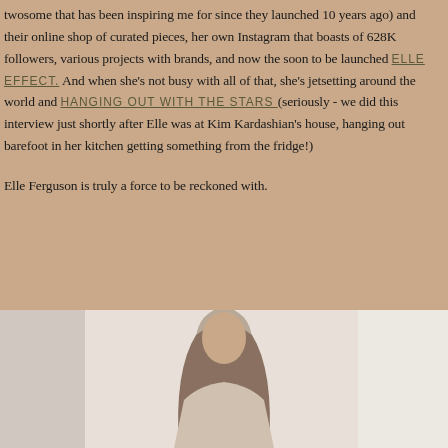twosome that has been inspiring me for since they launched 10 years ago) and their online shop of curated pieces, her own Instagram that boasts of 628K followers, various projects with brands, and now the soon to be launched ELLE EFFECT. And when she's not busy with all of that, she's jetsetting around the world and HANGING OUT WITH THE STARS (seriously - we did this interview just shortly after Elle was at Kim Kardashian's house, hanging out barefoot in her kitchen getting something from the fridge!)

Elle Ferguson is truly a force to be reckoned with.
[Figure (photo): Photo of a woman with long hair, partially visible at the bottom of the page against a light background]